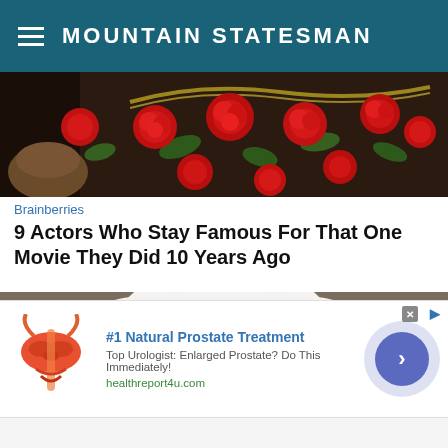MOUNTAIN STATESMAN
[Figure (photo): Close-up photo of red fabric roses/flowers and a gold chain necklace on dark background]
Brainberries
9 Actors Who Stay Famous For That One Movie They Did 10 Years Ago
[Figure (photo): Japanese bride wearing a large white traditional tsunokakushi headpiece covering her head, with red lipstick, eyes closed]
[Figure (infographic): Advertisement: #1 Natural Prostate Treatment - Top Urologist: Enlarged Prostate? Do This Immediately! healthreport4u.com - with anatomical illustration of prostate gland]